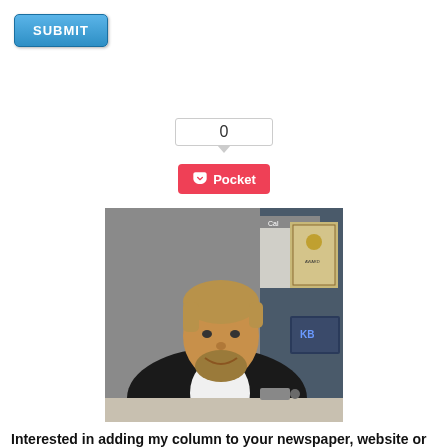[Figure (other): Blue SUBMIT button]
[Figure (other): Counter box showing 0 with Pocket save button below]
[Figure (photo): Photo of a man with a beard sitting at a desk with a computer monitor, calendar, and framed certificate on the wall behind him]
Interested in adding my column to your newspaper, website or publication? Drop me a line to discuss rates.